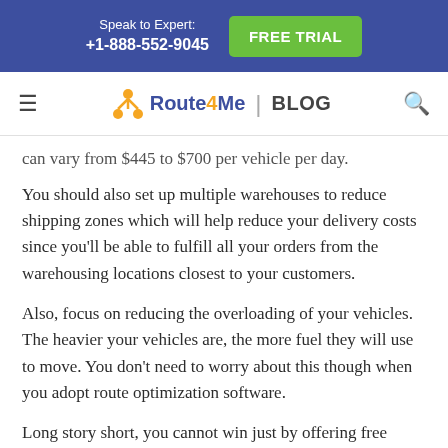Speak to Expert: +1-888-552-9045 | FREE TRIAL
Route4Me | BLOG
can vary from $445 to $700 per vehicle per day.
You should also set up multiple warehouses to reduce shipping zones which will help reduce your delivery costs since you'll be able to fulfill all your orders from the warehousing locations closest to your customers.
Also, focus on reducing the overloading of your vehicles. The heavier your vehicles are, the more fuel they will use to move. You don't need to worry about this though when you adopt route optimization software.
Long story short, you cannot win just by offering free